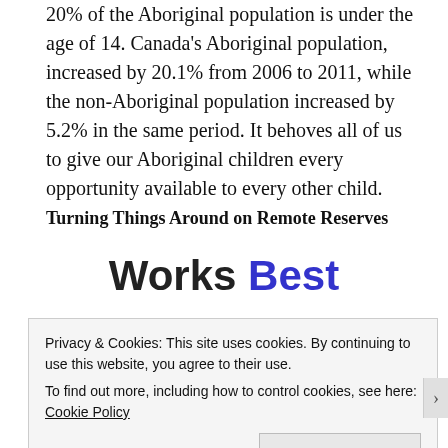20% of the Aboriginal population is under the age of 14. Canada's Aboriginal population, increased by 20.1% from 2006 to 2011, while the non-Aboriginal population increased by 5.2% in the same period. It behoves all of us to give our Aboriginal children every opportunity available to every other child.
Turning Things Around on Remote Reserves
Works Best
[Figure (other): SEE PRICING button (partial, blue button overlaid by cookie banner)]
Privacy & Cookies: This site uses cookies. By continuing to use this website, you agree to their use.
To find out more, including how to control cookies, see here: Cookie Policy
Close and accept